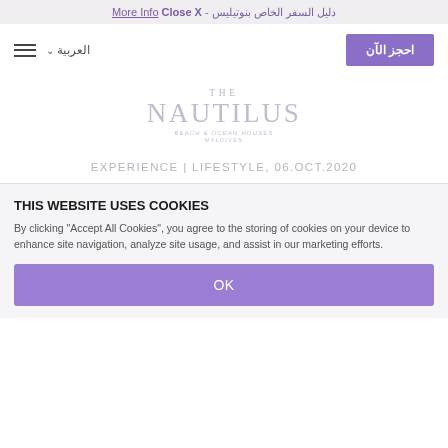دليل السفر الخاص بنوتيليس - Close X More Info
[Figure (screenshot): Navigation bar with 'احجز الآن' (Book Now) purple button on left and 'العربية' language selector with hamburger menu on right]
[Figure (logo): The Nautilus Beach & Ocean Houses Maldives logo in light purple/grey tones]
EXPERIENCE | LIFESTYLE, 06.OCT.2020
THIS WEBSITE USES COOKIES
By clicking "Accept All Cookies", you agree to the storing of cookies on your device to enhance site navigation, analyze site usage, and assist in our marketing efforts.
OK